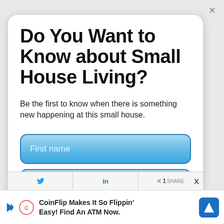Do You Want to Know about Small House Living?
Be the first to know when there is something new happening at this small house.
First name
Email address
CoinFlip Makes It So Flippin' Easy! Find An ATM Now.